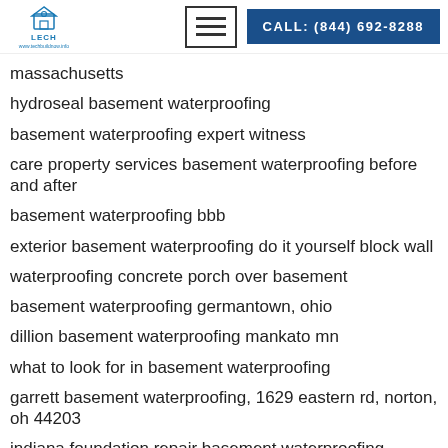LECH | CALL: (844) 692-8288
massachusetts
hydroseal basement waterproofing
basement waterproofing expert witness
care property services basement waterproofing before and after
basement waterproofing bbb
exterior basement waterproofing do it yourself block wall
waterproofing concrete porch over basement
basement waterproofing germantown, ohio
dillion basement waterproofing mankato mn
what to look for in basement waterproofing
garrett basement waterproofing, 1629 eastern rd, norton, oh 44203
indiana foundation repair basement waterproofing
basement waterproofing toronto cost